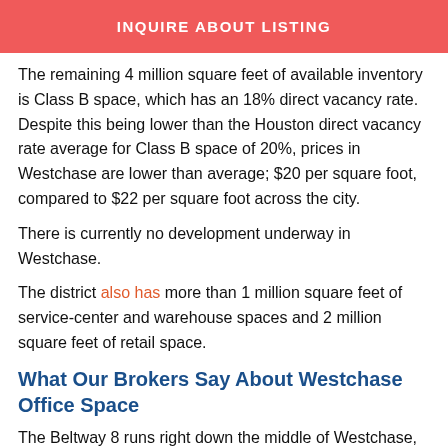[Figure (other): Red button banner with white text: INQUIRE ABOUT LISTING]
The remaining 4 million square feet of available inventory is Class B space, which has an 18% direct vacancy rate. Despite this being lower than the Houston direct vacancy rate average for Class B space of 20%, prices in Westchase are lower than average; $20 per square foot, compared to $22 per square foot across the city.
There is currently no development underway in Westchase.
The district also has more than 1 million square feet of service-center and warehouse spaces and 2 million square feet of retail space.
What Our Brokers Say About Westchase Office Space
The Beltway 8 runs right down the middle of Westchase,